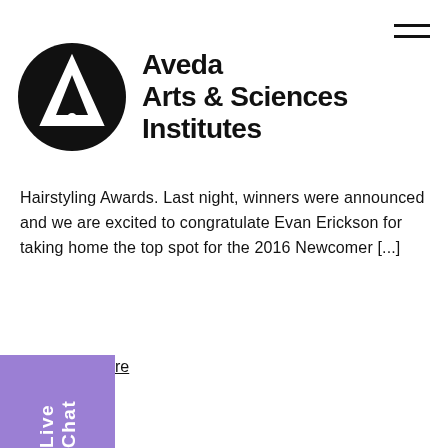[Figure (logo): Aveda Arts & Sciences Institutes logo — black circle with white triangle/A symbol above a white dot, next to bold text 'Aveda Arts & Sciences Institutes']
Hairstyling Awards. Last night, winners were announced and we are excited to congratulate Evan Erickson for taking home the top spot for the 2016 Newcomer [...]
re
[Figure (infographic): Purple Live Chat sidebar tab with white vertical text 'Live Chat']
[Figure (infographic): Social sharing icons row: Facebook (f), Twitter (bird), Email (envelope)]
[Figure (photo): Bottom partial photo showing green leaves and lavender flowers on white background]